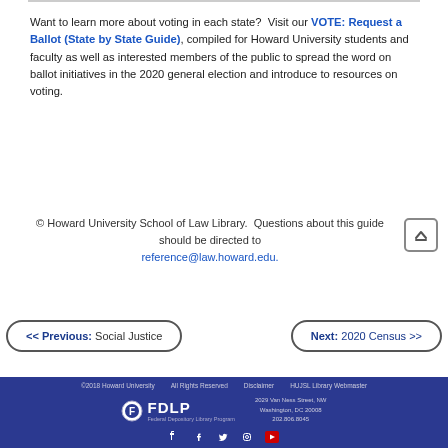Want to learn more about voting in each state?  Visit our VOTE: Request a Ballot (State by State Guide), compiled for Howard University students and faculty as well as interested members of the public to spread the word on ballot initiatives in the 2020 general election and introduce to resources on voting.
© Howard University School of Law Library.  Questions about this guide should be directed to reference@law.howard.edu.
<< Previous: Social Justice
Next: 2020 Census >>
©2018 Howard University   All Rights Reserved   Disclaimer   HUJSL Library Webmaster   2029 Van Ness Street, NW Washington, DC 20008 202.806.8045